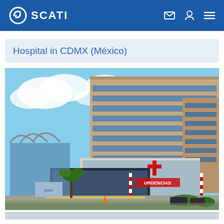SCATI
Hospital in CDMX (México)
[Figure (photo): Exterior photograph of a hospital building in CDMX, Mexico, showing a large multi-story brown/beige office building with extensive glazing, an emergency (URGENCIAS) entrance below with a red cross sign, a canopy structure on the left, palm trees, and a red-and-white barrier arm at the entrance.]